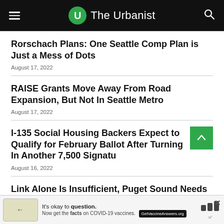The Urbanist
Rorschach Plans: One Seattle Comp Plan is Just a Mess of Dots
August 17, 2022
RAISE Grants Move Away From Road Expansion, But Not In Seattle Metro
August 17, 2022
I-135 Social Housing Backers Expect to Qualify for February Ballot After Turning In Another 7,500 Signatures
August 16, 2022
Link Alone Is Insufficient, Puget Sound Needs Regional Rail
August 17, 2022
[Figure (infographic): Advertisement banner: It's okay to question. Now get the facts on COVID-19 vaccines. GetVaccineAnswers.org]